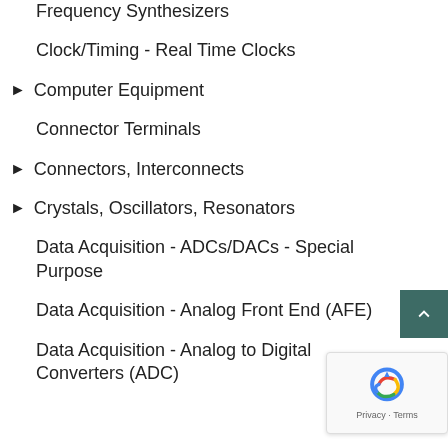Frequency Synthesizers
Clock/Timing - Real Time Clocks
Computer Equipment
Connector Terminals
Connectors, Interconnects
Crystals, Oscillators, Resonators
Data Acquisition - ADCs/DACs - Special Purpose
Data Acquisition - Analog Front End (AFE)
Data Acquisition - Analog to Digital Converters (ADC)